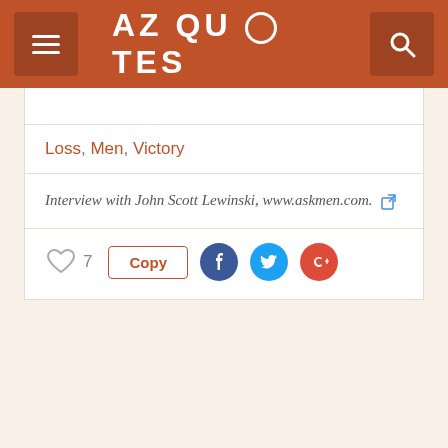AZ QUOTES
Loss, Men, Victory
Interview with John Scott Lewinski, www.askmen.com.
♡ 7  Copy  [Facebook] [Twitter] [Google+]